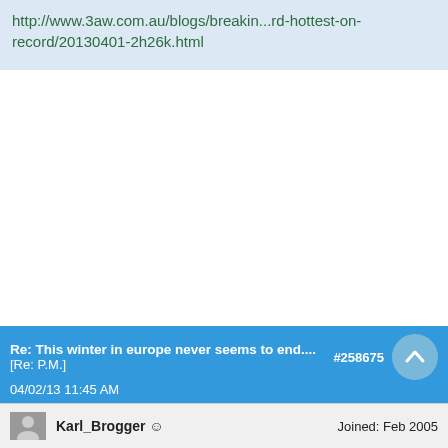http://www.3aw.com.au/blogs/breakin...rd-hottest-on-record/20130401-2h26k.html
Re: This winter in europe never seems to end.... [Re: P.M.]  #258675
04/02/13 11:45 AM
Karl_Brogger   Joined: Feb 2005